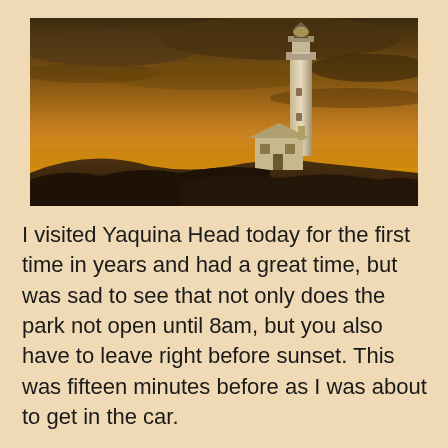[Figure (photo): Photograph of Yaquina Head Lighthouse at sunset/dusk. A tall white lighthouse stands against a dramatic golden-orange sky with dark clouds. A small white keeper's house sits at the base. The landscape is dark silhouette in the foreground.]
I visited Yaquina Head today for the first time in years and had a great time, but was sad to see that not only does the park not open until 8am, but you also have to leave right before sunset. This was fifteen minutes before as I was about to get in the car.